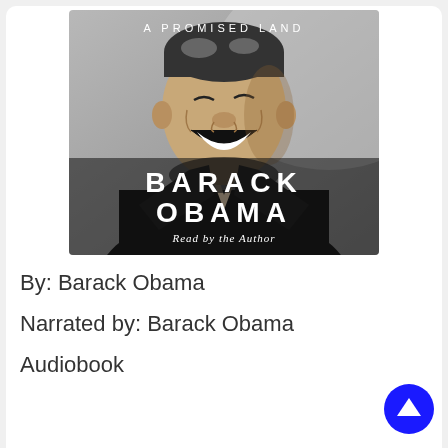[Figure (illustration): Book cover of 'A Promised Land' by Barack Obama. Black and white photo of Barack Obama smiling, wearing a dark suit. Text on cover reads 'A PROMISED LAND', 'BARACK OBAMA', 'Read by the Author'.]
By: Barack Obama
Narrated by: Barack Obama
Audiobook